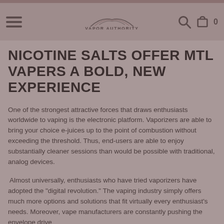Vapor Authority
NICOTINE SALTS OFFER MTL VAPERS A BOLD, NEW EXPERIENCE
One of the strongest attractive forces that draws enthusiasts worldwide to vaping is the electronic platform. Vaporizers are able to bring your choice e-juices up to the point of combustion without exceeding the threshold. Thus, end-users are able to enjoy substantially cleaner sessions than would be possible with traditional, analog devices.
Almost universally, enthusiasts who have tried vaporizers have adopted the "digital revolution." The vaping industry simply offers much more options and solutions that fit virtually every enthusiast's needs. Moreover, vape manufacturers are constantly pushing the envelope drive